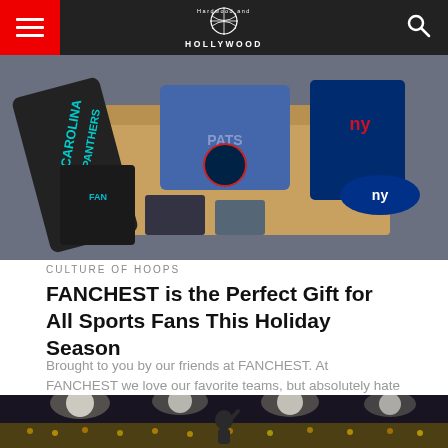Hardwood and Hollywood
[Figure (photo): Sports fan gear box with Carolina Panthers, New England Patriots, and New York Giants merchandise including t-shirts, hats, and accessories]
CULTURE OF HOOPS
FANCHEST is the Perfect Gift for All Sports Fans This Holiday Season
Brought to you by our friends at FANCHEST. At FANCHEST we love our favorite teams, but absolutely hate shopping for gifts for...
[Figure (photo): Basketball arena interior shot with bright arena lights, packed crowd, and a basketball player pointing upward on the court]